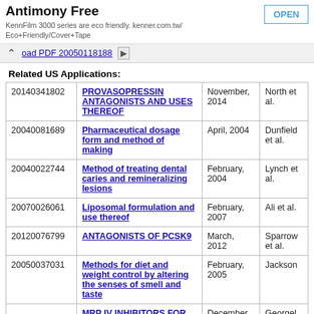Antimony Free — OPEN
KennFilm 3000 series are eco friendly. kenner.com.tw/Eco+Friendly/Cover+Tape
oad PDF 20050118188
Related US Applications:
|  |  |  |  |
| --- | --- | --- | --- |
| 20140341802 | PROVASOPRESSIN ANTAGONISTS AND USES THEREOF | November, 2014 | North et al. |
| 20040081689 | Pharmaceutical dosage form and method of making | April, 2004 | Dunfield et al. |
| 20040022744 | Method of treating dental caries and remineralizing lesions | February, 2004 | Lynch et al. |
| 20070026061 | Liposomal formulation and use thereof | February, 2007 | Ali et al. |
| 20120076799 | ANTAGONISTS OF PCSK9 | March, 2012 | Sparrow et al. |
| 20050037031 | Methods for diet and weight control by altering the senses of smell and taste | February, 2005 | Jackson |
|  | MRP IV INHIBITORS FOR THE | December, | Georgel |